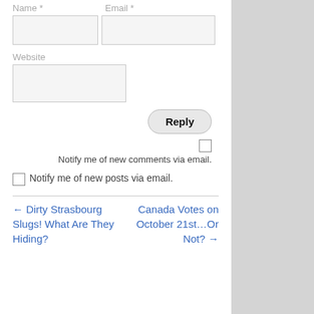Name *   Email *
[Figure (screenshot): Form fields for Name and Email inputs (text input boxes)]
Website
[Figure (screenshot): Form field for Website input (text input box)]
Reply
Notify me of new comments via email.
Notify me of new posts via email.
← Dirty Strasbourg Slugs! What Are They Hiding?
Canada Votes on October 21st…Or Not? →